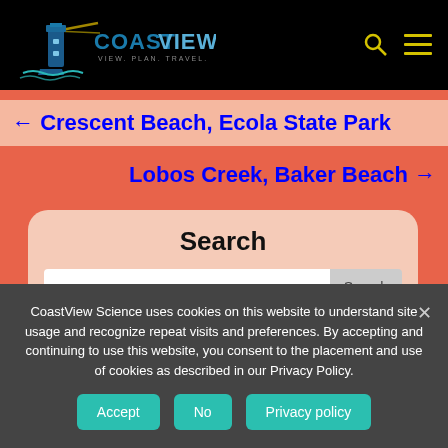[Figure (logo): CoastView logo with lighthouse icon and text 'COAST VIEW. VIEW. PLAN. TRAVEL.' on black background with search and menu icons]
← Crescent Beach, Ecola State Park
Lobos Creek, Baker Beach →
Search
CoastView Science uses cookies on this website to understand site usage and recognize repeat visits and preferences. By accepting and continuing to use this website, you consent to the placement and use of cookies as described in our Privacy Policy.
Accept
No
Privacy policy